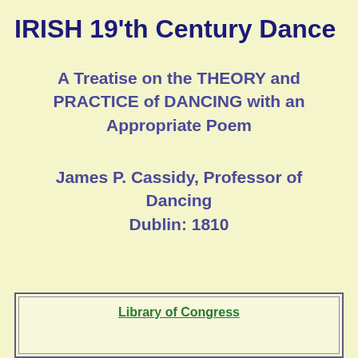IRISH 19'th Century Dance
A Treatise on the THEORY and PRACTICE of DANCING with an Appropriate Poem
James P. Cassidy, Professor of Dancing
Dublin: 1810
Library of Congress